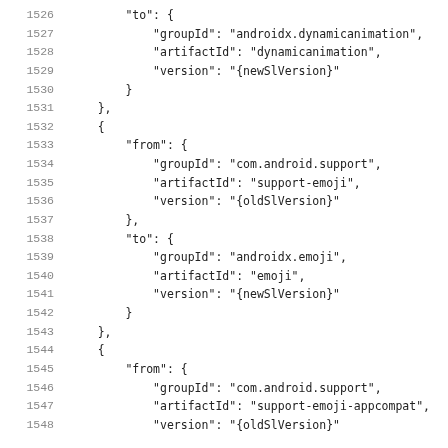1526    "to": {
1527        "groupId": "androidx.dynamicanimation",
1528        "artifactId": "dynamicanimation",
1529        "version": "{newSlVersion}"
1530    }
1531  },
1532  {
1533    "from": {
1534        "groupId": "com.android.support",
1535        "artifactId": "support-emoji",
1536        "version": "{oldSlVersion}"
1537    },
1538    "to": {
1539        "groupId": "androidx.emoji",
1540        "artifactId": "emoji",
1541        "version": "{newSlVersion}"
1542    }
1543  },
1544  {
1545    "from": {
1546        "groupId": "com.android.support",
1547        "artifactId": "support-emoji-appcompat",
1548        "version": "{oldSlVersion}"